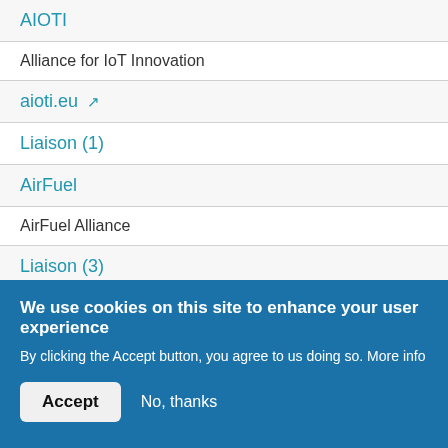AIOTI
Alliance for IoT Innovation
aioti.eu
Liaison (1)
AirFuel
AirFuel Alliance
Liaison (3)
AISE
International Association of the Soap and Detergent
We use cookies on this site to enhance your user experience
By clicking the Accept button, you agree to us doing so. More info
Accept
No, thanks